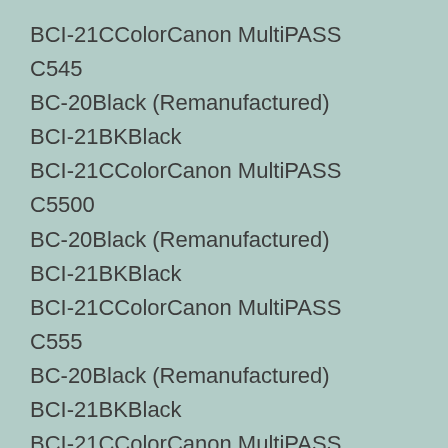BCI-21CColorCanon MultiPASS C545
BC-20Black (Remanufactured)
BCI-21BKBlack
BCI-21CColorCanon MultiPASS C5500
BC-20Black (Remanufactured)
BCI-21BKBlack
BCI-21CColorCanon MultiPASS C555
BC-20Black (Remanufactured)
BCI-21BKBlack
BCI-21CColorCanon MultiPASS